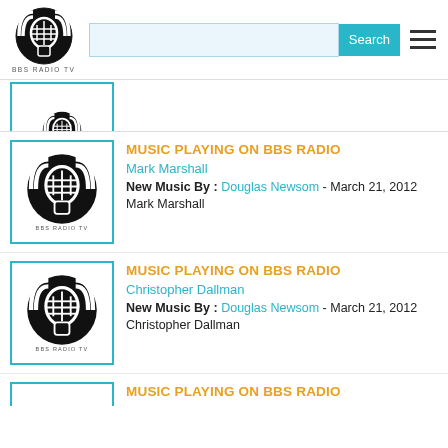BBS RADIO TV — Search bar — Navigation menu
[Figure (logo): BBS Radio TV logo - partial card top]
MUSIC PLAYING ON BBS RADIO
Mark Marshall
New Music By : Douglas Newsom - March 21, 2012
Mark Marshall
MUSIC PLAYING ON BBS RADIO
Christopher Dallman
New Music By : Douglas Newsom - March 21, 2012
Christopher Dallman
MUSIC PLAYING ON BBS RADIO